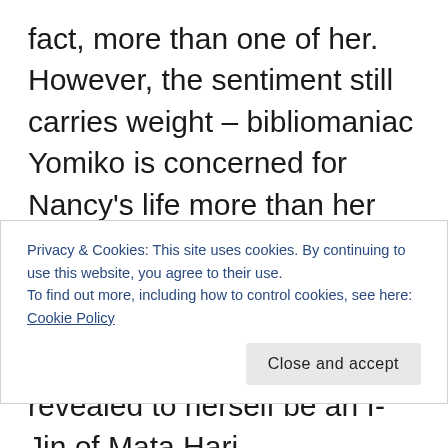fact, more than one of her. However, the sentiment still carries weight – bibliomaniac Yomiko is concerned for Nancy's life more than her precious book, while only days ago she was politely begging a crazed clone of Otto Lilienthal for her book in midair. Yomiko, for the first time in her life, experiences love outside of the pages of a book. Their relationship has strong romantic overtones, such as Yomiko blushing after Nancy pinches
Privacy & Cookies: This site uses cookies. By continuing to use this website, you agree to their use.
To find out more, including how to control cookies, see here: Cookie Policy
Close and accept
revealed to herself be an I-Jin of Mata Hari,